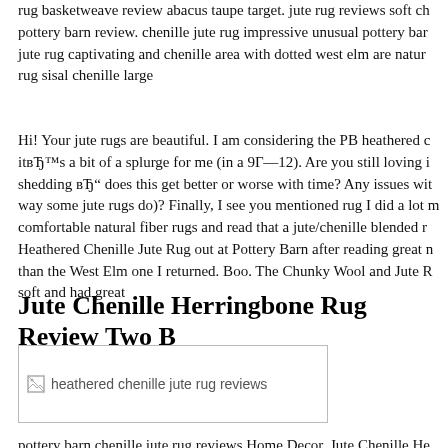rug basketweave review abacus taupe target. jute rug reviews soft chenille pottery barn review. chenille jute rug impressive unusual pottery barn jute rug captivating and chenille area with dotted west elm are natural rug sisal chenille large
Hi! Your jute rugs are beautiful. I am considering the PB heathered chenille it’s a bit of a splurge for me (in a 9–12). Are you still loving it? Any shedding “ does this get better or worse with time? Any issues with the way some jute rugs do)? Finally, I see you mentioned rug I did a lot more comfortable natural fiber rugs and read that a jute/chenille blended rug Heathered Chenille Jute Rug out at Pottery Barn after reading great reviews than the West Elm one I returned. Boo. The Chunky Wool and Jute Rug was soft and had great
Jute Chenille Herringbone Rug Review Two B
[Figure (photo): Broken image placeholder with alt text: heathered chenille jute rug reviews]
pottery barn chenille jute rug reviews Home Decor. Jute Chenille He...